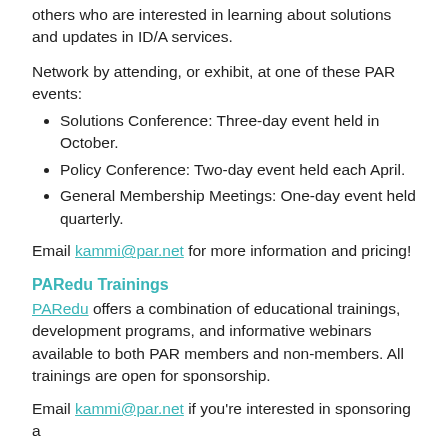others who are interested in learning about solutions and updates in ID/A services.
Network by attending, or exhibit, at one of these PAR events:
Solutions Conference: Three-day event held in October.
Policy Conference: Two-day event held each April.
General Membership Meetings: One-day event held quarterly.
Email kammi@par.net for more information and pricing!
PARedu Trainings
PARedu offers a combination of educational trainings, development programs, and informative webinars available to both PAR members and non-members. All trainings are open for sponsorship.
Email kammi@par.net if you're interested in sponsoring a